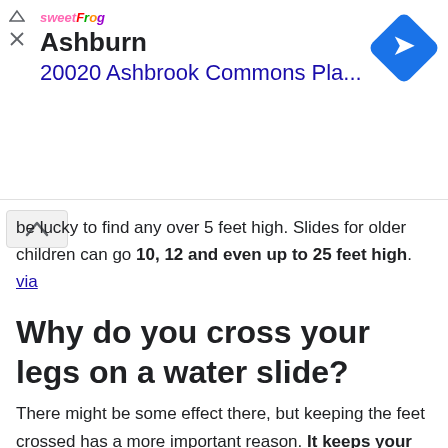[Figure (screenshot): Advertisement banner for sweetFrog showing location in Ashburn at 20020 Ashbrook Commons Pla... with a blue diamond navigation icon]
be lucky to find any over 5 feet high. Slides for older children can go 10, 12 and even up to 25 feet high. via
Why do you cross your legs on a water slide?
There might be some effect there, but keeping the feet crossed has a more important reason. It keeps your legs together, preventing some very uncomfortable issues. via
Are water slides safe?
The water on the slide acts as a lubricant to keep you from getting stuck or slowing down. Friction between your body and the slide